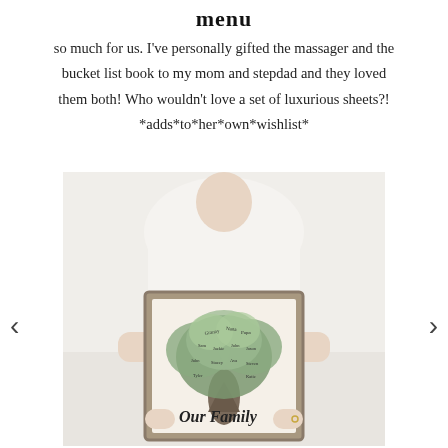menu
so much for us. I've personally gifted the massager and the bucket list book to my mom and stepdad and they loved them both! Who wouldn't love a set of luxurious sheets?! *adds*to*her*own*wishlist*
[Figure (photo): A person holding a framed 'Our Family' tree art print with names written on the leaves, displayed in a gray wood frame.]